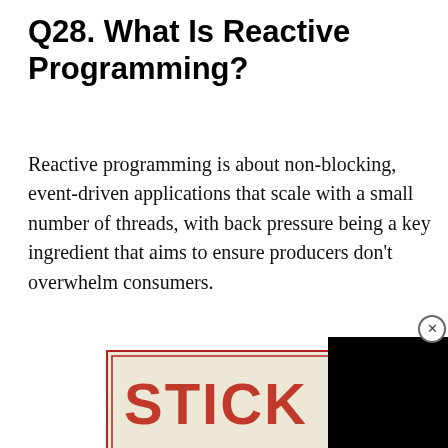Q28. What Is Reactive Programming?
Reactive programming is about non-blocking, event-driven applications that scale with a small number of threads, with back pressure being a key ingredient that aims to ensure producers don't overwhelm consumers.
[Figure (illustration): Advertisement image showing text 'STICK [IT] — TO THE — ENEMY' in red and blue letters on a vintage-style cream background with a border. Bottom text reads 'DON'T WAIT. VACCINATE.' with veterans coalition branding.]
DSA INTERVIEW QUESTIONS
Ad | An AMG Site